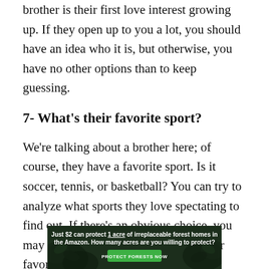brother is their first love interest growing up. If they open up to you a lot, you should have an idea who it is, but otherwise, you have no other options than to keep guessing.
7- What's their favorite sport?
We're talking about a brother here; of course, they have a favorite sport. Is it soccer, tennis, or basketball? You can try to analyze what sports they love spectating to find out. If there's an obvious choice, you may want to exclude it (e.g. what's their favorite sport apart from soccer?)
[Figure (infographic): Advertisement banner: dark green background with forest/nature imagery. Text reads 'Just $2 can protect 1 acre of irreplaceable forest homes in the Amazon. How many acres are you willing to protect?' with a green 'PROTECT FORESTS NOW' button.]